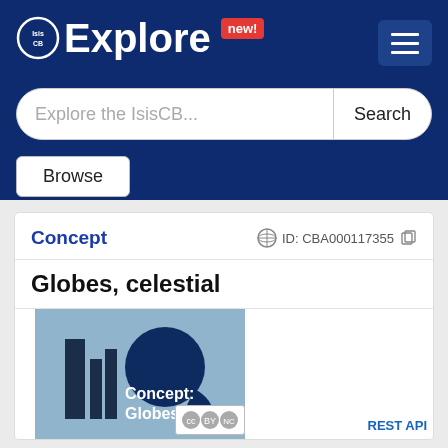IsisCB Explore new!
Explore the IsisCB...
Search
Browse
Concept   ID: CBA000117355
Globes, celestial
[Figure (illustration): Concept illustration showing celestial globes with IsisCB Explore branding. Text overlay reads 'Concept: Globes, celestial'. CC BY-NC license badge shown.]
REST API